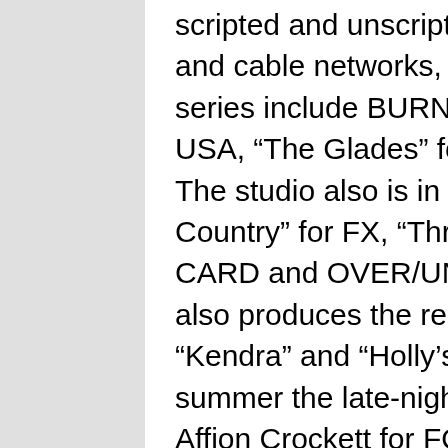Fox Television Studios produces scripted and unscripted programming for US broadcast and cable networks, and international broadcasters. Hit series include BURN NOTICE and WHITE COLLAR for USA, “The Glades” for A&E and “The Killing” for AMC. The studio also is in production on the pilots “Outlaw Country” for FX, “Three Inches” for SyFy and WILD CARD and OVER/UNDER for USA. Fox TV Studios also produces the reality hits “The Girls Next Door,” “Kendra” and “Holly’s World” for E! and will launch this summer the late-night comedy series “In the Flow” with Affion Crockett for FOX.